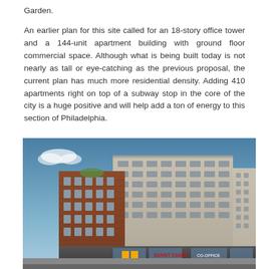Garden.

An earlier plan for this site called for an 18-story office tower and a 144-unit apartment building with ground floor commercial space. Although what is being built today is not nearly as tall or eye-catching as the previous proposal, the current plan has much more residential density. Adding 410 apartments right on top of a subway stop in the core of the city is a huge positive and will help add a ton of energy to this section of Philadelphia.
[Figure (photo): Architectural rendering of a mixed-use development building in Philadelphia featuring multi-story apartment blocks with brick and beige facades, ground-floor retail including Giant grocery store signage, CO-OFFICE space, and street-level commercial tenants.]